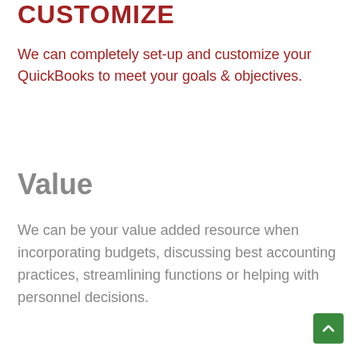Customize
We can completely set-up and customize your QuickBooks to meet your goals & objectives.
Value
We can be your value added resource when incorporating budgets, discussing best accounting practices, streamlining functions or helping with personnel decisions.